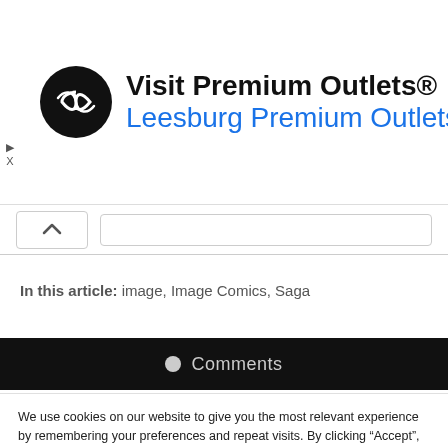[Figure (screenshot): Advertisement banner for Visit Premium Outlets / Leesburg Premium Outlets with circular black logo and blue diamond arrow icon]
[Figure (screenshot): Collapse/expand bar with up-arrow button and search input field]
In this article: image, Image Comics, Saga
[Figure (screenshot): Black comments section bar with circle icon and 'Comments' text]
We use cookies on our website to give you the most relevant experience by remembering your preferences and repeat visits. By clicking “Accept”, you consent to the use of ALL the cookies.
Do not sell my personal information.
Cookie Settings  Accept